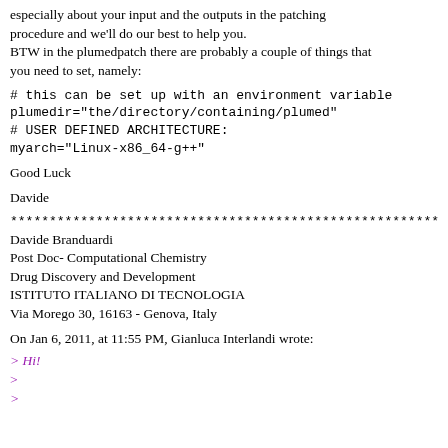especially about your input and the outputs in the patching procedure and we'll do our best to help you.
BTW in the plumedpatch there are probably a couple of things that you need to set, namely:
# this can be set up with an environment variable
plumedir="the/directory/containing/plumed"
# USER DEFINED ARCHITECTURE:
myarch="Linux-x86_64-g++"
Good Luck
Davide
************************************************************
Davide Branduardi
Post Doc- Computational Chemistry
Drug Discovery and Development
ISTITUTO ITALIANO DI TECNOLOGIA
Via Morego 30, 16163 - Genova, Italy
On Jan 6, 2011, at 11:55 PM, Gianluca Interlandi wrote:
> Hi!
>